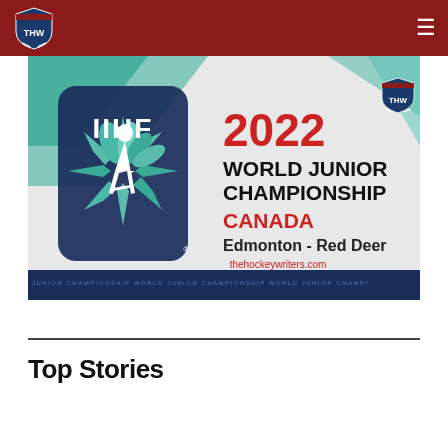THW - The Hockey Writers
[Figure (illustration): IIHF 2022 World Junior Championship Canada banner — Edmonton - Red Deer. Features IIHF logo, hockey player silhouette, THW logo watermark, and thehockeywriters.com credit. Green, teal, dark blue, and white color scheme.]
Top Stories